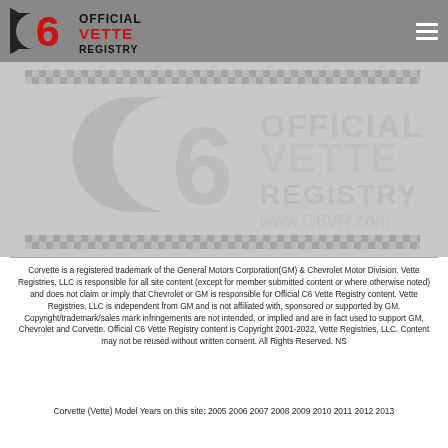C6 Official Vette Registry [logo] [hamburger menu]
[Figure (logo): C6 Official Vette Registry watermark logo with checkered pattern borders on gray background, showing large faded logo and www.C6VR.com]
Corvette is a registered trademark of the General Motors Corporation(GM) & Chevrolet Motor Division. Vette Registries, LLC is responsible for all site content (except for member submitted content or where otherwise noted) and does not claim or imply that Chevrolet or GM is responsible for Official C6 Vette Registry content. Vette Registries, LLC is independent from GM and is not affiliated with, sponsored or supported by GM. Copyright/trademark/sales mark infringements are not intended, or implied and are in fact used to support GM, Chevrolet and Corvette. Official C6 Vette Registry content is Copyright 2001-2022, Vette Registries, LLC. Content may not be reused without written consent. All Rights Reserved. NS
Corvette (Vette) Model Years on this site: 2005 2006 2007 2008 2009 2010 2011 2012 2013